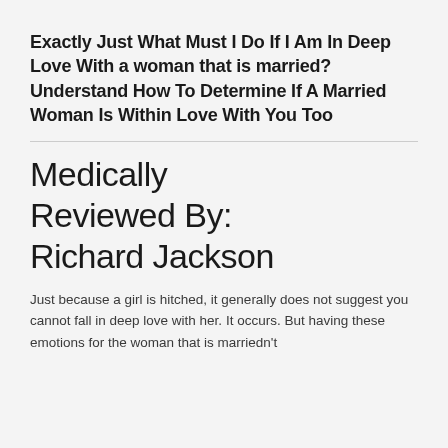Exactly Just What Must I Do If I Am In Deep Love With a woman that is married? Understand How To Determine If A Married Woman Is Within Love With You Too
Medically Reviewed By: Richard Jackson
Just because a girl is hitched, it generally does not suggest you cannot fall in deep love with her. It occurs. But having these emotions for the woman that is marriedn't